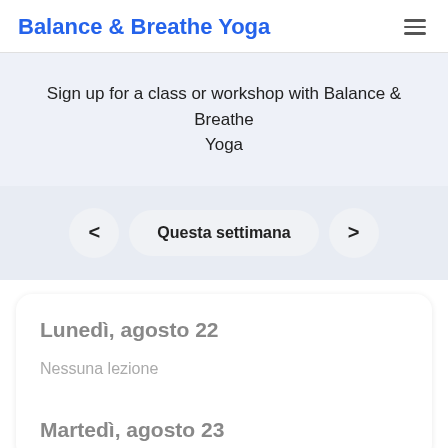Balance & Breathe Yoga
Sign up for a class or workshop with Balance & Breathe Yoga
< Questa settimana >
Lunedì, agosto 22
Nessuna lezione
Martedì, agosto 23